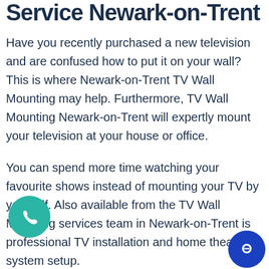Service Newark-on-Trent
Have you recently purchased a new television and are confused how to put it on your wall? This is where Newark-on-Trent TV Wall Mounting may help. Furthermore, TV Wall Mounting Newark-on-Trent will expertly mount your television at your house or office.
You can spend more time watching your favourite shows instead of mounting your TV by yourself. Also available from the TV Wall Mounting services team in Newark-on-Trent is professional TV installation and home theatre system setup.
TV Wall Mounting Newark-on-Trent offers